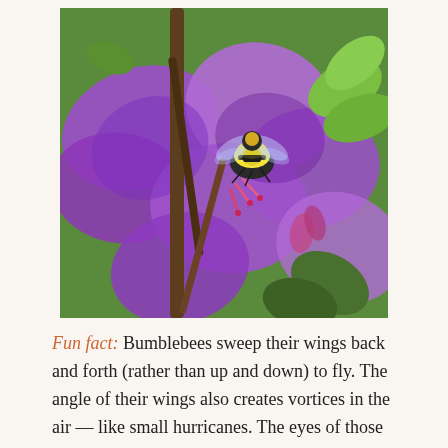[Figure (photo): Close-up photograph of a bumblebee on purple rhododendron flowers, with green leaves and branches visible in the background.]
Fun fact:  Bumblebees sweep their wings back and forth (rather than up and down) to fly.  The angle of their wings also creates vortices in the air — like small hurricanes. The eyes of those mini-hurricanes have lower pressure than the